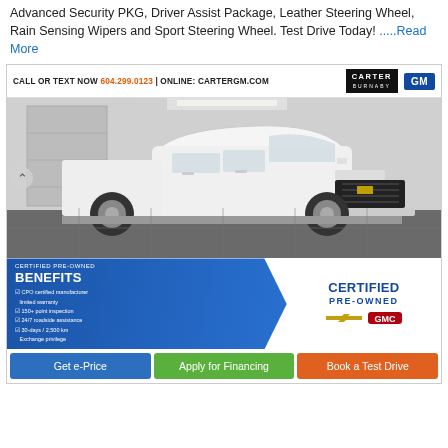Advanced Security PKG, Driver Assist Package, Leather Steering Wheel, Rain Sensing Wipers and Sport Steering Wheel. Test Drive Today! .....Read More
[Figure (photo): Dealer advertisement for a white Chevrolet Colorado truck at Carter GM Burnaby. Shows the truck in a showroom, with a dealer header bar reading 'CALL OR TEXT NOW 604.299.0123 | ONLINE: CARTERGM.COM' with Carter and GM logos. Bottom section shows Certified Pre-Owned Benefits including: CPO certified manufacturer limited warranty, 150+ point inspection, 24/7 roadside assistance, 30-days / 2,500 km Exchange privilege. Right side shows 'CERTIFIED PRE-OWNED' with Chevrolet and GMC logos. Below are three buttons: Get e-Price (blue), Apply for Financing (green), Book a Test Drive (orange).]